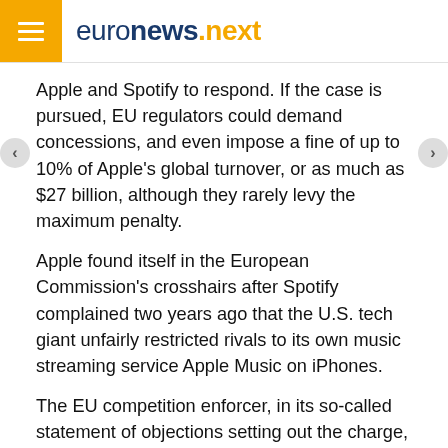euronews.next
Apple and Spotify to respond. If the case is pursued, EU regulators could demand concessions, and even impose a fine of up to 10% of Apple's global turnover, or as much as $27 billion, although they rarely levy the maximum penalty.
Apple found itself in the European Commission's crosshairs after Spotify complained two years ago that the U.S. tech giant unfairly restricted rivals to its own music streaming service Apple Music on iPhones.
The EU competition enforcer, in its so-called statement of objections setting out the charge, said the issue related to Apple's restrictive rules for its App Store that force developers to use its own in-app payment system and prevent them from informing users of other purchasing options.